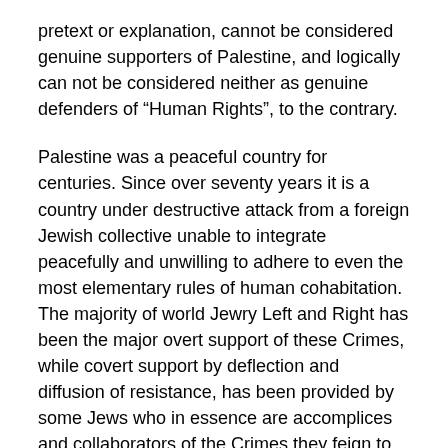pretext or explanation, cannot be considered genuine supporters of Palestine, and logically can not be considered neither as genuine defenders of “Human Rights”, to the contrary.
Palestine was a peaceful country for centuries. Since over seventy years it is a country under destructive attack from a foreign Jewish collective unable to integrate peacefully and unwilling to adhere to even the most elementary rules of human cohabitation. The majority of world Jewry Left and Right has been the major overt support of these Crimes, while covert support by deflection and diffusion of resistance, has been provided by some Jews who in essence are accomplices and collaborators of the Crimes they feign to oppose.
Noam Chomsky is part of the latter.